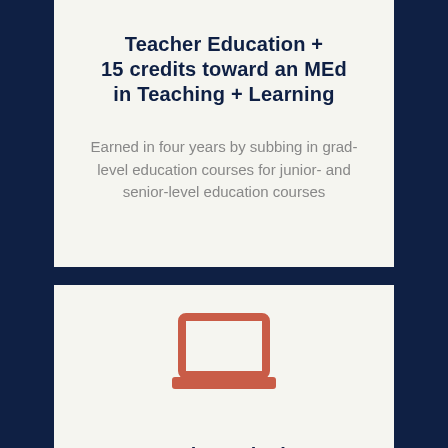Teacher Education + 15 credits toward an MEd in Teaching + Learning
Earned in four years by subbing in grad-level education courses for junior- and senior-level education courses
[Figure (illustration): Laptop computer icon in salmon/coral red color]
A BS in Marketing Management + 15 credits